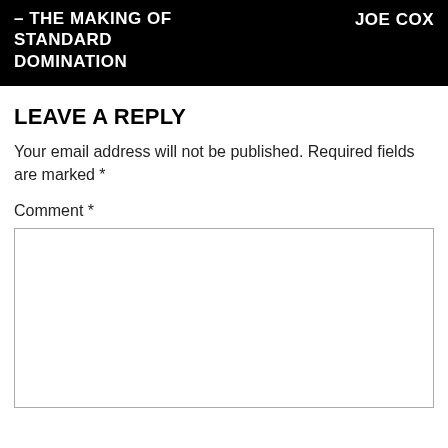– THE MAKING OF STANDARD DOMINATION   JOE COX
LEAVE A REPLY
Your email address will not be published. Required fields are marked *
Comment *